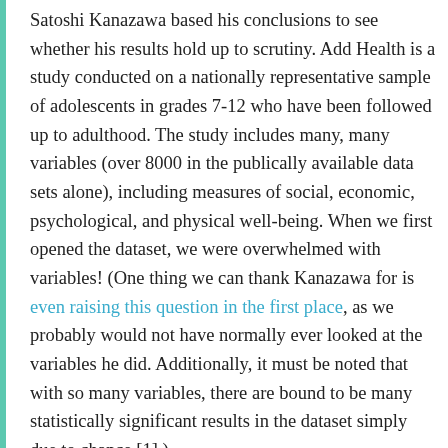Satoshi Kanazawa based his conclusions to see whether his results hold up to scrutiny. Add Health is a study conducted on a nationally representative sample of adolescents in grades 7-12 who have been followed up to adulthood. The study includes many, many variables (over 8000 in the publically available data sets alone), including measures of social, economic, psychological, and physical well-being. When we first opened the dataset, we were overwhelmed with variables! (One thing we can thank Kanazawa for is even raising this question in the first place, as we probably would not have normally ever looked at the variables he did. Additionally, it must be noted that with so many variables, there are bound to be many statistically significant results in the dataset simply due to chance [1].)